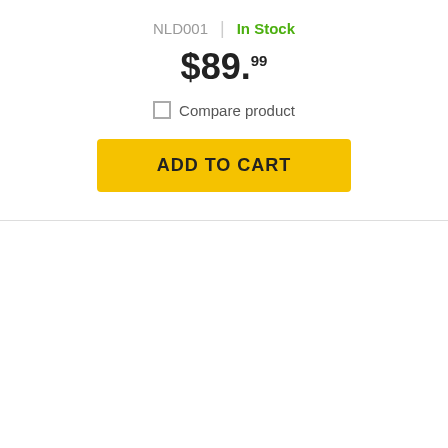NLD001 | In Stock
$89.99
☐ Compare product
ADD TO CART
Star Wars Imperial Assault The Bespin Gambit Campaign
SWI24 | In Stock